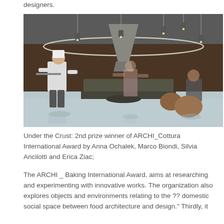designers.
[Figure (photo): Interior architectural rendering showing a restaurant or kitchen space with hanging pendant lights, a large conical hood, a central cooking station, and three people: a chef in white uniform on the left, a woman in a patterned dress in the center, and a man seated on the right. The space features dark wood paneling on the walls and a polished light-colored floor.]
Under the Crust: 2nd prize winner of ARCHI_Cottura International Award by Anna Ochalek, Marco Biondi, Silvia Ancilotti and Erica Ziac;
The ARCHI _ Baking International Award, aims at researching and experimenting with innovative works. The organization also explores objects and environments relating to the ?? domestic social space between food architecture and design." Thirdly, it